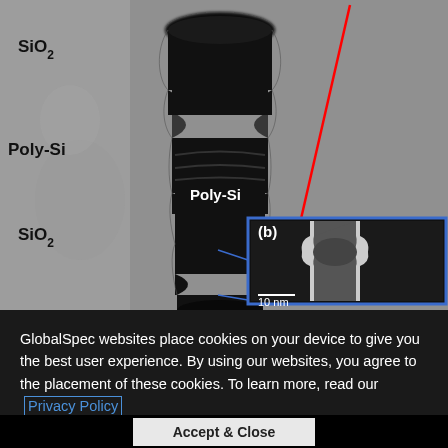[Figure (engineering-diagram): TEM/SEM microscopy image of a semiconductor nanopillar structure showing alternating layers labeled SiO2 and Poly-Si. The main grayscale TEM image shows a dark pillar with constrictions. An inset (b) in the lower right shows a higher-magnification SEM image of the pillar cross-section with a 10 nm scale bar. A red arrow points from the top of the image down to the inset region. Blue lines connect the inset region to where it was zoomed from.]
GlobalSpec websites place cookies on your device to give you the best user experience. By using our websites, you agree to the placement of these cookies. To learn more, read our Privacy Policy.
Accept & Close